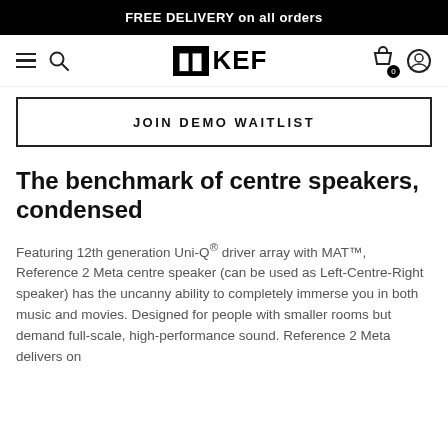FREE DELIVERY on all orders
[Figure (logo): KEF brand logo with hamburger menu icon, search icon on left and shopping cart and user account icons on right]
JOIN DEMO WAITLIST
The benchmark of centre speakers, condensed
Featuring 12th generation Uni-Q® driver array with MAT™, Reference 2 Meta centre speaker (can be used as Left-Centre-Right speaker) has the uncanny ability to completely immerse you in both music and movies. Designed for people with smaller rooms but demand full-scale, high-performance sound. Reference 2 Meta delivers on